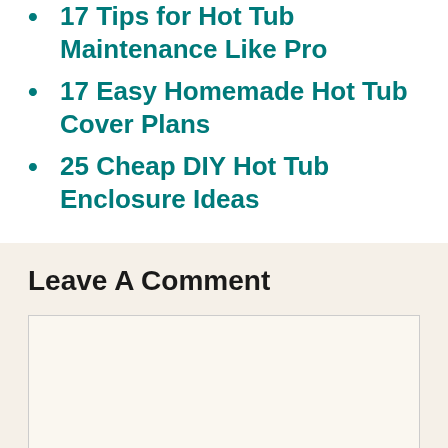17 Tips for Hot Tub Maintenance Like Pro
17 Easy Homemade Hot Tub Cover Plans
25 Cheap DIY Hot Tub Enclosure Ideas
Leave A Comment